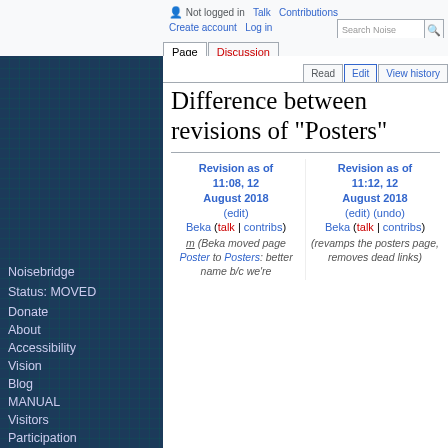Not logged in  Talk  Contributions  Create account  Log in  Search Noisebridge
Difference between revisions of "Posters"
Noisebridge
Status: MOVED
Donate
About
Accessibility
Vision
Blog
MANUAL
Visitors
Participation
Community Standards
Channels
Operations
EVENTS
| Revision as of 11:08, 12 August 2018 | Revision as of 11:12, 12 August 2018 |
| --- | --- |
| (edit) | (edit) (undo) |
| Beka (talk | contribs) | Beka (talk | contribs) |
| m (Beka moved page Poster to Posters: better name b/c we're | (revamps the posters page, removes dead links) |